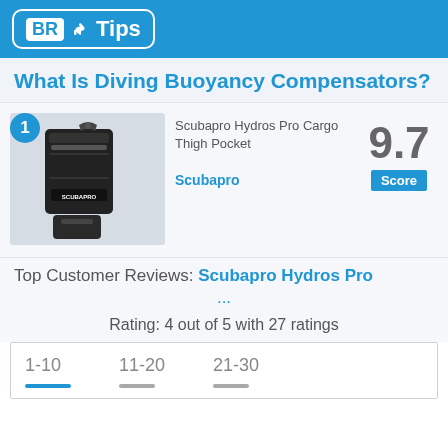BR Tips
What Is Diving Buoyancy Compensators?
[Figure (photo): Product photo of Scubapro Hydros Pro Cargo Thigh Pocket, a black dive bag with straps and buckles. Number badge '1' in blue circle at top-left.]
Scubapro Hydros Pro Cargo Thigh Pocket
Scubapro
9.7 Score
Top Customer Reviews: Scubapro Hydros Pro ...
Rating: 4 out of 5 with 27 ratings
1-10  11-20  21-30